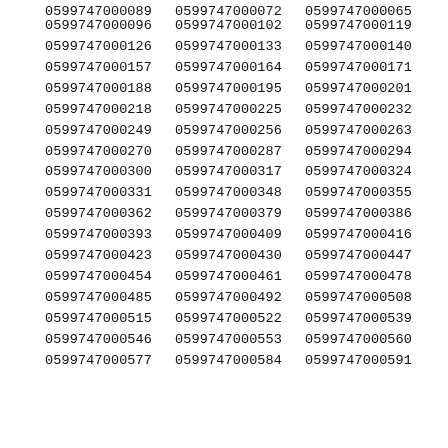0599747000089 0599747000072 0599747000065
0599747000096 0599747000102 0599747000119
0599747000126 0599747000133 0599747000140
0599747000157 0599747000164 0599747000171
0599747000188 0599747000195 0599747000201
0599747000218 0599747000225 0599747000232
0599747000249 0599747000256 0599747000263
0599747000270 0599747000287 0599747000294
0599747000300 0599747000317 0599747000324
0599747000331 0599747000348 0599747000355
0599747000362 0599747000379 0599747000386
0599747000393 0599747000409 0599747000416
0599747000423 0599747000430 0599747000447
0599747000454 0599747000461 0599747000478
0599747000485 0599747000492 0599747000508
0599747000515 0599747000522 0599747000539
0599747000546 0599747000553 0599747000560
0599747000577 0599747000584 0599747000591